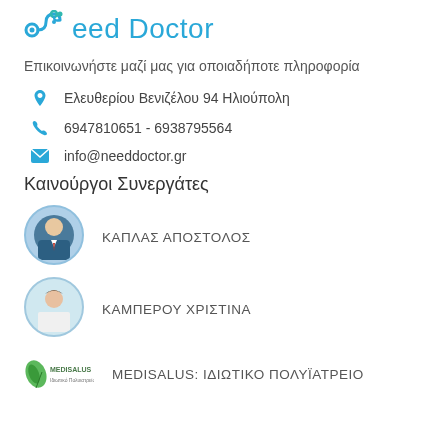[Figure (logo): Need Doctor logo with stethoscope icon in blue and teal, text 'Need Doctor' in light blue]
Επικοινωνήστε μαζί μας για οποιαδήποτε πληροφορία
Ελευθερίου Βενιζέλου 94 Ηλιούπολη
6947810651 - 6938795564
info@needdoctor.gr
Καινούργοι Συνεργάτες
[Figure (photo): Circular profile photo of ΚΑΠΛΑΣ ΑΠΟΣΤΟΛΟΣ, a man in a suit]
ΚΑΠΛΑΣ ΑΠΟΣΤΟΛΟΣ
[Figure (photo): Circular profile photo of ΚΑΜΠΕΡΟΥ ΧΡΙΣΤΙΝΑ, a woman in white coat]
ΚΑΜΠΕΡΟΥ ΧΡΙΣΤΙΝΑ
[Figure (logo): MEDISALUS logo with green leaf icon]
MEDISALUS: ΙΔΙΩΤΙΚΟ ΠΟΛΥΪΑΤΡΕΙΟ